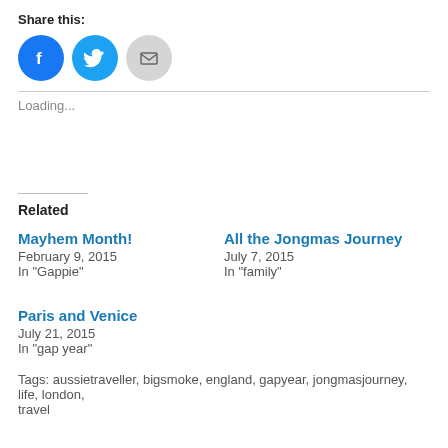Share this:
[Figure (illustration): Three social share buttons: Facebook (blue circle with f icon), Twitter (blue circle with bird icon), Email (grey circle with envelope icon)]
Loading...
Related
Mayhem Month!
February 9, 2015
In "Gappie"
All the Jongmas Journey
July 7, 2015
In "family"
Paris and Venice
July 21, 2015
In "gap year"
Tags: aussietraveller, bigsmoke, england, gapyear, jongmasjourney, life, london, travel